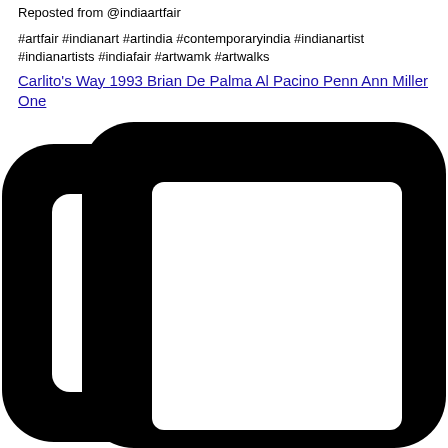Reposted from @indiaartfair
#artfair #indianart #artindia #contemporaryindia #indianartist #indianartists #indiafair #artwamk #artwalks
Carlito's Way 1993 Brian De Palma Al Pacino Penn Ann Miller One
[Figure (illustration): Large black icon resembling two overlapping rounded-rectangle frames (copy/duplicate icon), with a white rectangular cutout in the center of the front frame. The icon is cropped at the bottom.]